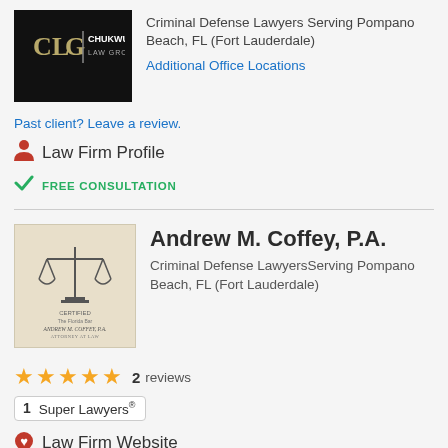[Figure (logo): Chukwuma Law Group logo, black background with gold/white text showing 'CLG | CHUKWUMA LAW GROUP']
Criminal Defense Lawyers Serving Pompano Beach, FL (Fort Lauderdale)
Additional Office Locations
Past client? Leave a review.
Law Firm Profile
FREE CONSULTATION
[Figure (logo): Andrew M. Coffey, P.A. logo, beige/cream background with scales of justice icon and text 'ANDREW M. COFFEY, P.A. ATTORNEY AT LAW']
Andrew M. Coffey, P.A.
Criminal Defense LawyersServing Pompano Beach, FL (Fort Lauderdale)
2 reviews
1 Super Lawyers®
Law Firm Website